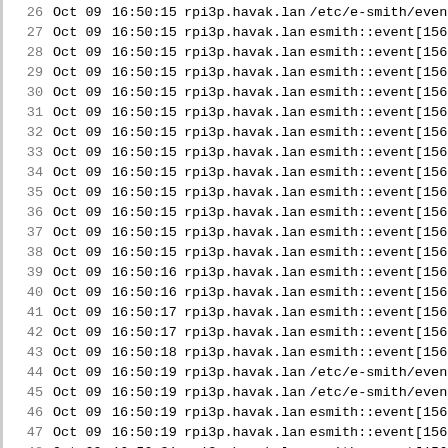| line | date | time | host | message |
| --- | --- | --- | --- | --- |
| 26 | Oct 09 | 16:50:15 | rpi3p.havak.lan | /etc/e-smith/even |
| 27 | Oct 09 | 16:50:15 | rpi3p.havak.lan | esmith::event[156 |
| 28 | Oct 09 | 16:50:15 | rpi3p.havak.lan | esmith::event[156 |
| 29 | Oct 09 | 16:50:15 | rpi3p.havak.lan | esmith::event[156 |
| 30 | Oct 09 | 16:50:15 | rpi3p.havak.lan | esmith::event[156 |
| 31 | Oct 09 | 16:50:15 | rpi3p.havak.lan | esmith::event[156 |
| 32 | Oct 09 | 16:50:15 | rpi3p.havak.lan | esmith::event[156 |
| 33 | Oct 09 | 16:50:15 | rpi3p.havak.lan | esmith::event[156 |
| 34 | Oct 09 | 16:50:15 | rpi3p.havak.lan | esmith::event[156 |
| 35 | Oct 09 | 16:50:15 | rpi3p.havak.lan | esmith::event[156 |
| 36 | Oct 09 | 16:50:15 | rpi3p.havak.lan | esmith::event[156 |
| 37 | Oct 09 | 16:50:15 | rpi3p.havak.lan | esmith::event[156 |
| 38 | Oct 09 | 16:50:15 | rpi3p.havak.lan | esmith::event[156 |
| 39 | Oct 09 | 16:50:16 | rpi3p.havak.lan | esmith::event[156 |
| 40 | Oct 09 | 16:50:16 | rpi3p.havak.lan | esmith::event[156 |
| 41 | Oct 09 | 16:50:17 | rpi3p.havak.lan | esmith::event[156 |
| 42 | Oct 09 | 16:50:17 | rpi3p.havak.lan | esmith::event[156 |
| 43 | Oct 09 | 16:50:18 | rpi3p.havak.lan | esmith::event[156 |
| 44 | Oct 09 | 16:50:19 | rpi3p.havak.lan | /etc/e-smith/even |
| 45 | Oct 09 | 16:50:19 | rpi3p.havak.lan | /etc/e-smith/even |
| 46 | Oct 09 | 16:50:19 | rpi3p.havak.lan | esmith::event[156 |
| 47 | Oct 09 | 16:50:19 | rpi3p.havak.lan | esmith::event[156 |
| 48 | Oct 09 | 16:50:31 | rpi3p.havak.lan | esmith::event[156 |